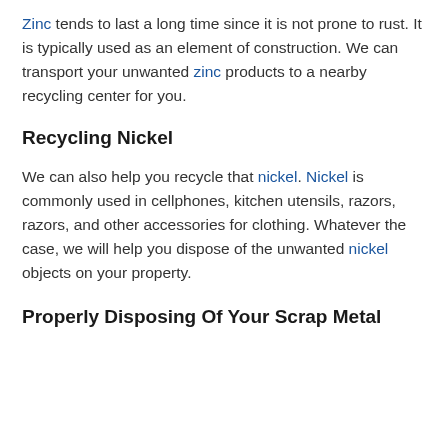Zinc tends to last a long time since it is not prone to rust. It is typically used as an element of construction. We can transport your unwanted zinc products to a nearby recycling center for you.
Recycling Nickel
We can also help you recycle that nickel. Nickel is commonly used in cellphones, kitchen utensils, razors, razors, and other accessories for clothing. Whatever the case, we will help you dispose of the unwanted nickel objects on your property.
Properly Disposing Of Your Scrap Metal